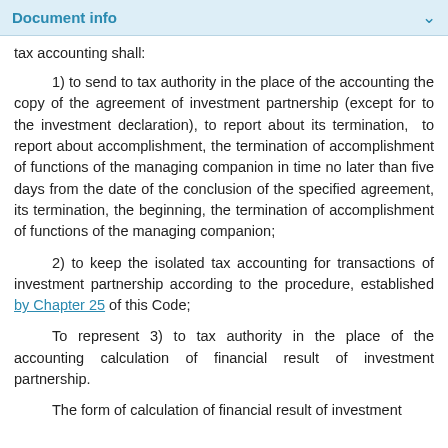Document info
tax accounting shall:
1) to send to tax authority in the place of the accounting the copy of the agreement of investment partnership (except for to the investment declaration), to report about its termination, to report about accomplishment, the termination of accomplishment of functions of the managing companion in time no later than five days from the date of the conclusion of the specified agreement, its termination, the beginning, the termination of accomplishment of functions of the managing companion;
2) to keep the isolated tax accounting for transactions of investment partnership according to the procedure, established by Chapter 25 of this Code;
To represent 3) to tax authority in the place of the accounting calculation of financial result of investment partnership.
The form of calculation of financial result of investment